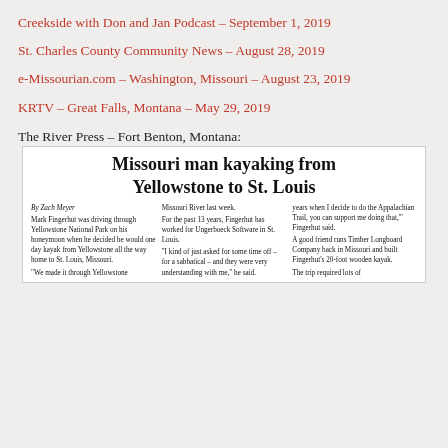Creekside with Don and Jan Podcast – September 1, 2019
St. Charles County Community News – August 28, 2019
e-Missourian.com – Washington, Missouri – August 23, 2019
KRTV – Great Falls, Montana – May 29, 2019
The River Press – Fort Benton, Montana:
[Figure (screenshot): Newspaper clipping with headline 'Missouri man kayaking from Yellowstone to St. Louis' by Zach Meyer, with three columns of article text describing Mark Fingerhut's kayaking journey.]